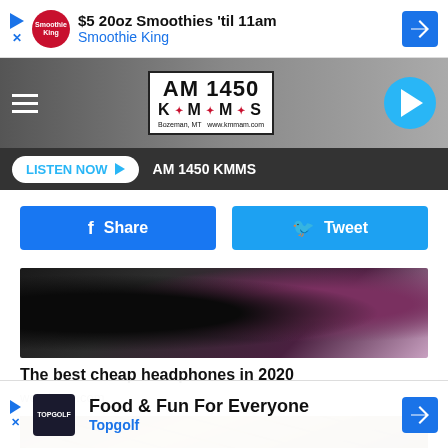[Figure (screenshot): Advertisement banner for Smoothie King: '$5 20oz Smoothies til 11am' with Smoothie King logo and navigation arrow icon]
[Figure (logo): AM 1450 KMMS radio station logo in bordered box, Bozeman MT www.kmmam.com]
LISTEN NOW ▶  AM 1450 KMMS
[Figure (screenshot): Facebook Share button (blue) and Twitter Tweet button (light blue)]
[Figure (photo): Close-up photo of black and purple/maroon headphones]
The best cheap headphones in 2020
wolrdame.com
[Figure (photo): Photo of large pile of US dollar bills/cash in a container]
[Figure (screenshot): Advertisement banner for Topgolf: 'Food & Fun For Everyone' with Topgolf logo and navigation arrow icon]